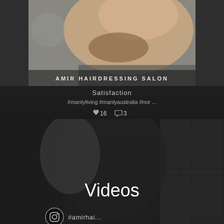[Figure (photo): Top photo of a man's jaw and beard from profile view, with blurred background, featuring 'AMIR HAIRDRESSING SALON' text overlay at bottom]
Satisfaction
#manlyliving #manlyaustralia #nor ...
16  3
[Figure (photo): Dark photo of a person in black clothing against a brick wall background, with 'Videos' text overlay in white]
Videos
#amirhai...
[Figure (photo): Bottom strip showing partial thumbnails of hair salon photos]